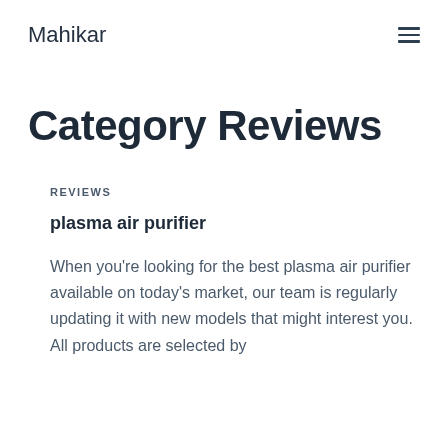Mahikar
Category Reviews
REVIEWS
plasma air purifier
When you're looking for the best plasma air purifier available on today's market, our team is regularly updating it with new models that might interest you. All products are selected by